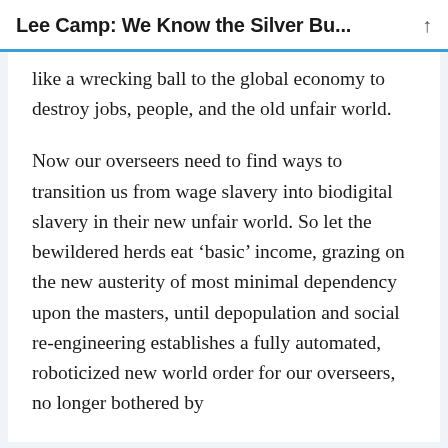Lee Camp: We Know the Silver Bu...
like a wrecking ball to the global economy to destroy jobs, people, and the old unfair world.
Now our overseers need to find ways to transition us from wage slavery into biodigital slavery in their new unfair world. So let the bewildered herds eat ‘basic’ income, grazing on the new austerity of most minimal dependency upon the masters, until depopulation and social re-engineering establishes a fully automated, roboticized new world order for our overseers, no longer bothered by